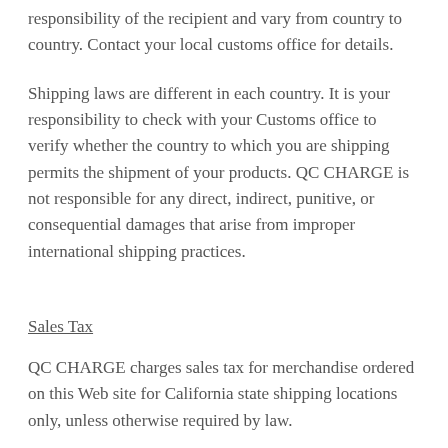responsibility of the recipient and vary from country to country. Contact your local customs office for details.
Shipping laws are different in each country. It is your responsibility to check with your Customs office to verify whether the country to which you are shipping permits the shipment of your products. QC CHARGE is not responsible for any direct, indirect, punitive, or consequential damages that arise from improper international shipping practices.
Sales Tax
QC CHARGE charges sales tax for merchandise ordered on this Web site for California state shipping locations only, unless otherwise required by law.